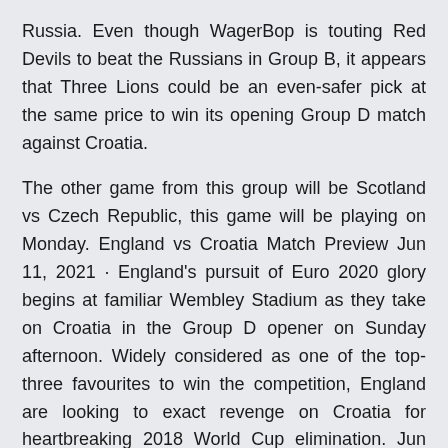Russia. Even though WagerBop is touting Red Devils to beat the Russians in Group B, it appears that Three Lions could be an even-safer pick at the same price to win its opening Group D match against Croatia.
The other game from this group will be Scotland vs Czech Republic, this game will be playing on Monday. England vs Croatia Match Preview Jun 11, 2021 · England's pursuit of Euro 2020 glory begins at familiar Wembley Stadium as they take on Croatia in the Group D opener on Sunday afternoon. Widely considered as one of the top-three favourites to win the competition, England are looking to exact revenge on Croatia for heartbreaking 2018 World Cup elimination. Jun 13, 2021 · England got their EURO 2020 campaign off to an excellent start as they overcame a solid if